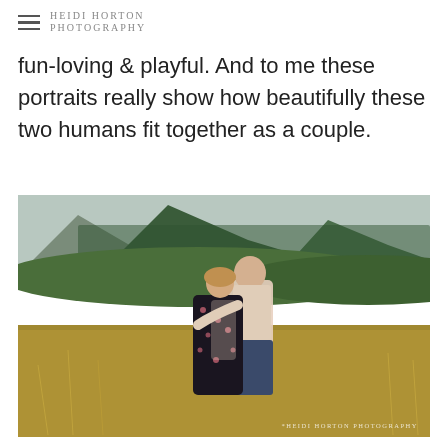Heidi Horton Photography
fun-loving & playful. And to me these portraits really show how beautifully these two humans fit together as a couple.
[Figure (photo): A couple embracing outdoors in a golden grass field with lush green forested mountains in the background. The woman wears a dark floral dress and the man wears a light pink shirt and navy pants. Watermark reads HEIDI HORTON PHOTOGRAPHY.]